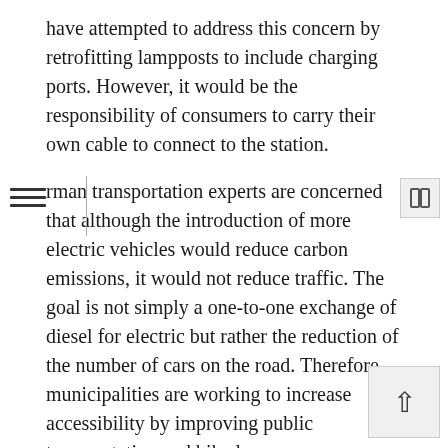have attempted to address this concern by retrofitting lampposts to include charging ports. However, it would be the responsibility of consumers to carry their own cable to connect to the station.
rman transportation experts are concerned that although the introduction of more electric vehicles would reduce carbon emissions, it would not reduce traffic. The goal is not simply a one-to-one exchange of diesel for electric but rather the reduction of the number of cars on the road. Therefore, municipalities are working to increase accessibility by improving public transportation and bike lanes.
In Dresden, the departments of transportation and urban planning have developed plans to add more bike lanes. Like many cities that were leveled during World War II, Dresden was rebuilt as a car-friendly community with a limited bicycling infrastructure. Cyclists often have to compete with cars, as bike lanes are not